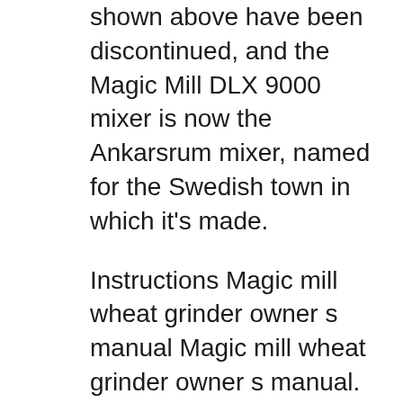shown above have been discontinued, and the Magic Mill DLX 9000 mixer is now the Ankarsrum mixer, named for the Swedish town in which it's made.
Instructions Magic mill wheat grinder owner s manual Magic mill wheat grinder owner s manual. Download: Magic mill wheat grinder owner s manual This is a replacement filter for the K-Tec Kitchen Mill. They come in packs of 2 (Also fits Magic Mill 2) See Previous: Wondermill Lid with Tube and Filter. I do wish I had a Country Living Mill to compare Magic Mill Owner's Manualpdf - Google Drive. Magic Mill Owner's Manualpdf Magic Mill Owner's Manualpdf Sign In Details . Live Chat;